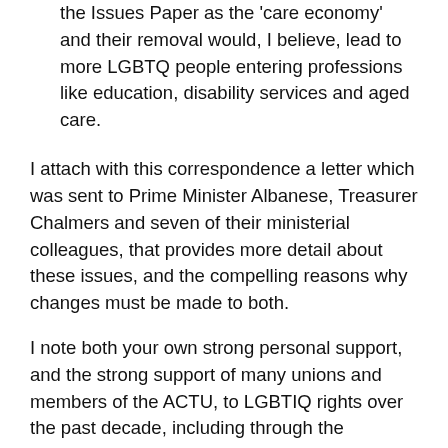the Issues Paper as the 'care economy' and their removal would, I believe, lead to more LGBTQ people entering professions like education, disability services and aged care.
I attach with this correspondence a letter which was sent to Prime Minister Albanese, Treasurer Chalmers and seven of their ministerial colleagues, that provides more detail about these issues, and the compelling reasons why changes must be made to both.
I note both your own strong personal support, and the strong support of many unions and members of the ACTU, to LGBTIQ rights over the past decade, including through the campaign for marriage equality.
I look forward to your support once again, on Thursday and Friday of this week, and over the following months, for